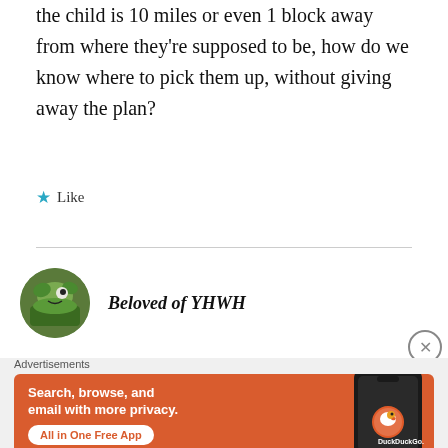the child is 10 miles or even 1 block away from where they're supposed to be, how do we know where to pick them up, without giving away the plan?
★ Like
Beloved of YHWH
[Figure (illustration): DuckDuckGo advertisement banner with orange background showing Search, browse, and email with more privacy. All in One Free App button and a phone illustration with DuckDuckGo logo]